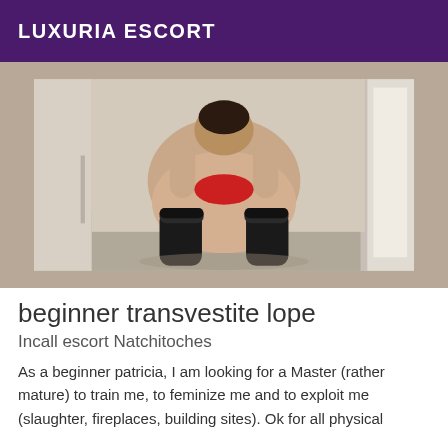LUXURIA ESCORT
[Figure (photo): A person bending forward with hands behind head, wearing black stockings and red undergarment, photographed from behind in a hallway/corridor setting.]
beginner transvestite lope
Incall escort Natchitoches
As a beginner patricia, I am looking for a Master (rather mature) to train me, to feminize me and to exploit me (slaughter, fireplaces, building sites). Ok for all physical